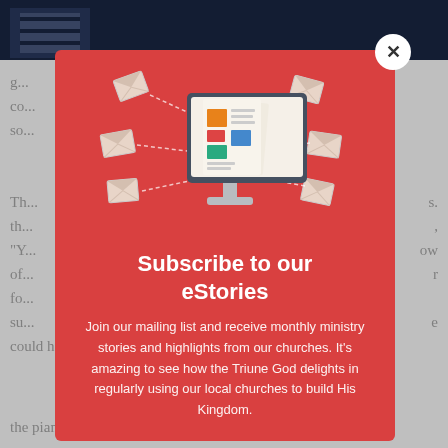[Figure (screenshot): Website background showing a dark navy header with a logo, and body text partially visible behind a modal overlay]
[Figure (illustration): Newsletter subscription modal with a computer monitor illustration showing colorful newspaper pages with email envelopes flying around it on a red background]
Subscribe to our eStories
Join our mailing list and receive monthly ministry stories and highlights from our churches. It's amazing to see how the Triune God delights in regularly using our local churches to build His Kingdom.